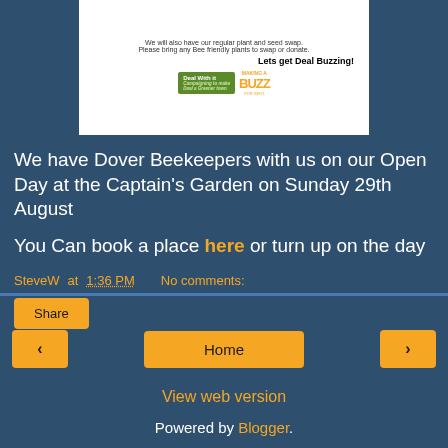[Figure (illustration): Deal With It bee-themed event flyer showing text about plant and seed swap, bee friendly plants, 'Lets get Buzzing!', Deal With It logo, and Making a BUZZ branding with bee illustrations]
We have Dover Beekeepers with us on our Open Day at the Captain's Garden on Sunday 29th August
You Can book a place here or turn up on the day
SteveW at 1:36 PM   No comments:
Share
‹
Home
›
View web version
Powered by Blogger.